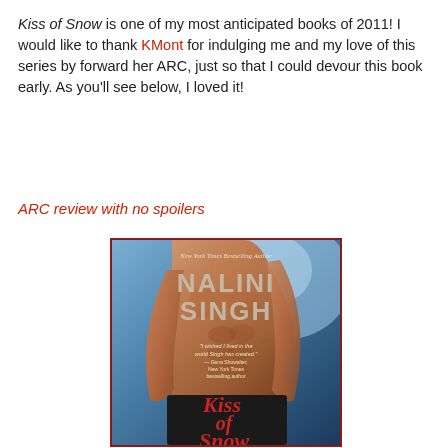Kiss of Snow is one of my most anticipated books of 2011! I would like to thank KMont for indulging me and my love of this series by forward her ARC, just so that I could devour this book early. As you'll see below, I loved it!
ARC review with no spoilers
[Figure (photo): Book cover of 'Kiss of Snow' by Nalini Singh — New York Times Bestselling Author. Shows a shirtless muscular man against a blue background with the author name NALINI SINGH in large letters and the title 'Kiss of Snow' in red cursive at the bottom. Includes a quote: 'I wished I lived in the world Singh has created.' —Gena Showalter, New York Times bestselling author.]